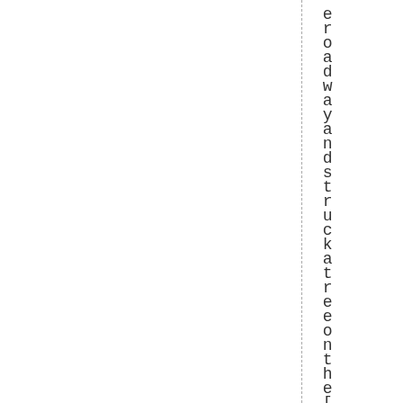eroadwayandstruckatreeonthel [...] l